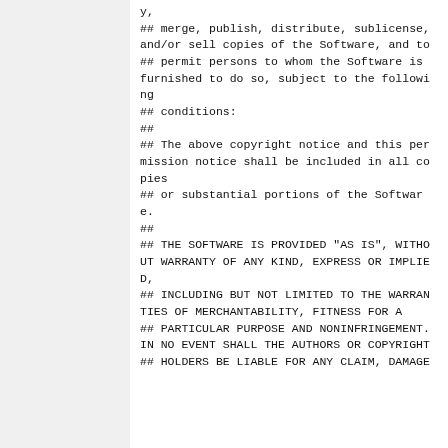y,
## merge, publish, distribute, sublicense,
and/or sell copies of the Software, and to
## permit persons to whom the Software is
furnished to do so, subject to the following
## conditions:
##
## The above copyright notice and this permission notice shall be included in all copies
## or substantial portions of the Software.
##
## THE SOFTWARE IS PROVIDED "AS IS", WITHOUT WARRANTY OF ANY KIND, EXPRESS OR IMPLIED,
## INCLUDING BUT NOT LIMITED TO THE WARRANTIES OF MERCHANTABILITY, FITNESS FOR A
## PARTICULAR PURPOSE AND NONINFRINGEMENT. IN NO EVENT SHALL THE AUTHORS OR COPYRIGHT
## HOLDERS BE LIABLE FOR ANY CLAIM, DAMAGE